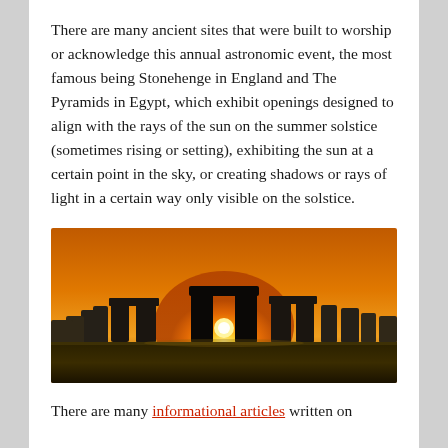There are many ancient sites that were built to worship or acknowledge this annual astronomic event, the most famous being Stonehenge in England and The Pyramids in Egypt, which exhibit openings designed to align with the rays of the sun on the summer solstice (sometimes rising or setting), exhibiting the sun at a certain point in the sky, or creating shadows or rays of light in a certain way only visible on the solstice.
[Figure (photo): Photo of Stonehenge at sunset/sunrise during the summer solstice, showing the sun positioned between the standing stones with an orange glowing sky]
There are many informational articles written on